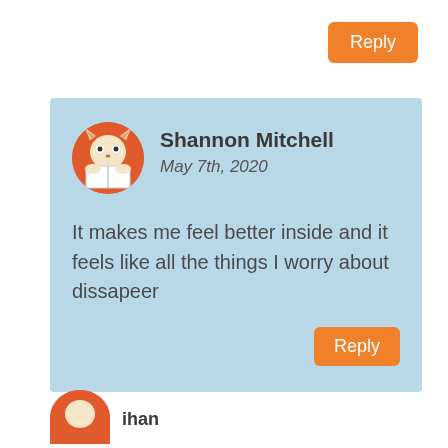Reply
[Figure (illustration): Comment card with light blue background containing user avatar (orange circle with cartoon fox/dog reading a book), username Shannon Mitchell, date May 7th 2020, comment text, and a Reply button]
Shannon Mitchell
May 7th, 2020
It makes me feel better inside and it feels like all the things I worry about dissapeer
Reply
[Figure (illustration): Partial orange circle avatar at bottom with partial name text 'ihan' visible]